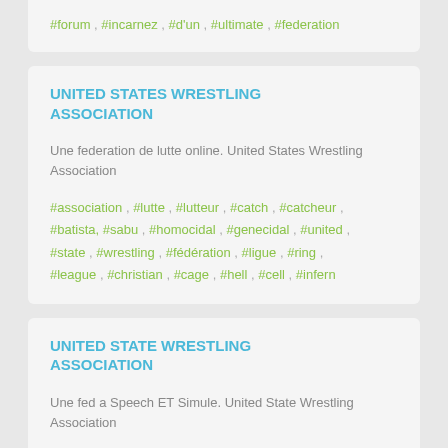#forum , #incarnez , #d'un , #ultimate , #federation
UNITED STATES WRESTLING ASSOCIATION
Une federation de lutte online. United States Wrestling Association
#association , #lutte , #lutteur , #catch , #catcheur , #batista, #sabu , #homocidal , #genecidal , #united , #state , #wrestling , #fédération , #ligue , #ring , #league , #christian , #cage , #hell , #cell , #infern
UNITED STATE WRESTLING ASSOCIATION
Une fed a Speech ET Simule. United State Wrestling Association
#association , #lutte , #catch , #batista, #wrestling